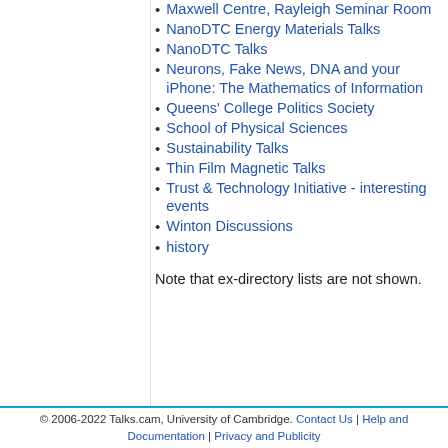Maxwell Centre, Rayleigh Seminar Room
NanoDTC Energy Materials Talks
NanoDTC Talks
Neurons, Fake News, DNA and your iPhone: The Mathematics of Information
Queens' College Politics Society
School of Physical Sciences
Sustainability Talks
Thin Film Magnetic Talks
Trust & Technology Initiative - interesting events
Winton Discussions
history
Note that ex-directory lists are not shown.
© 2006-2022 Talks.cam, University of Cambridge. Contact Us | Help and Documentation | Privacy and Publicity